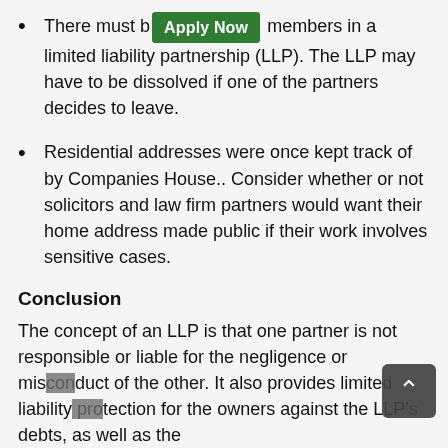There must be [Apply Now] members in a limited liability partnership (LLP). The LLP may have to be dissolved if one of the partners decides to leave.
Residential addresses were once kept track of by Companies House.. Consider whether or not solicitors and law firm partners would want their home address made public if their work involves sensitive cases.
Conclusion
The concept of an LLP is that one partner is not responsible or liable for the negligence or misconduct of the other. It also provides limited liability protection for the owners against the LLP's debts, as well as the